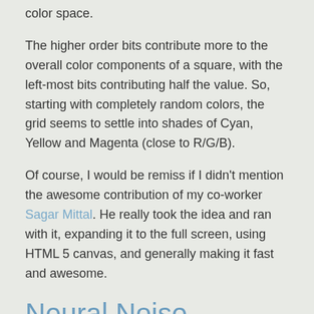color space.
The higher order bits contribute more to the overall color components of a square, with the left-most bits contributing half the value. So, starting with completely random colors, the grid seems to settle into shades of Cyan, Yellow and Magenta (close to R/G/B).
Of course, I would be remiss if I didn't mention the awesome contribution of my co-worker Sagar Mittal. He really took the idea and ran with it, expanding it to the full screen, using HTML 5 canvas, and generally making it fast and awesome.
Neural Noise
neuralnoise.0-z-0.com
Neural noise is a project to generate music using recurrent neural networks. The music is represented in the textual